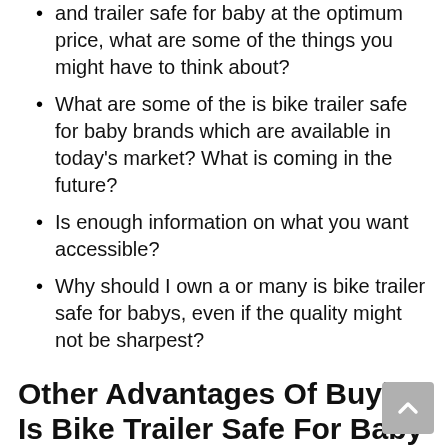…and trailer safe for baby at the optimum price, what are some of the things you might have to think about?
What are some of the is bike trailer safe for baby brands which are available in today's market? What is coming in the future?
Is enough information on what you want accessible?
Why should I own a or many is bike trailer safe for babys, even if the quality might not be sharpest?
Other Advantages Of Buying Is Bike Trailer Safe For Baby From Online Marketplaces